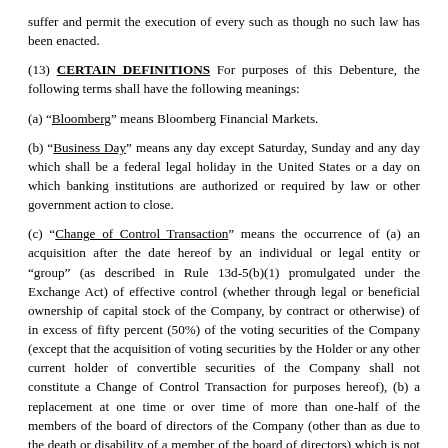suffer and permit the execution of every such as though no such law has been enacted.
(13) CERTAIN DEFINITIONS For purposes of this Debenture, the following terms shall have the following meanings:
(a) “Bloomberg” means Bloomberg Financial Markets.
(b) “Business Day” means any day except Saturday, Sunday and any day which shall be a federal legal holiday in the United States or a day on which banking institutions are authorized or required by law or other government action to close.
(c) “Change of Control Transaction” means the occurrence of (a) an acquisition after the date hereof by an individual or legal entity or “group” (as described in Rule 13d-5(b)(1) promulgated under the Exchange Act) of effective control (whether through legal or beneficial ownership of capital stock of the Company, by contract or otherwise) of in excess of fifty percent (50%) of the voting securities of the Company (except that the acquisition of voting securities by the Holder or any other current holder of convertible securities of the Company shall not constitute a Change of Control Transaction for purposes hereof), (b) a replacement at one time or over time of more than one-half of the members of the board of directors of the Company (other than as due to the death or disability of a member of the board of directors) which is not approved by a majority of those individuals who are members of the board of directors on the date hereof (or by those individuals who are serving as members of the board of directors on any date whose nomination to the board of directors was approved by a majority of the members of the board of